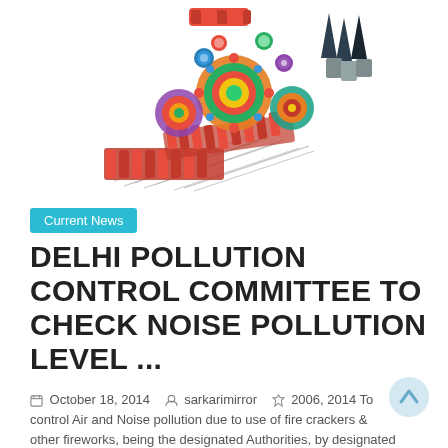[Figure (photo): A colorful assortment of Indian firecrackers and fireworks spread on a white background, including rockets, sparklers, flower pots, chakras, and ground spinners.]
Current News
DELHI POLLUTION CONTROL COMMITTEE TO CHECK NOISE POLLUTION LEVEL ...
October 18, 2014   sarkarimirror   2006, 2014 To control Air and Noise pollution due to use of fire crackers & other fireworks, being the designated Authorities, by designated Authorities under